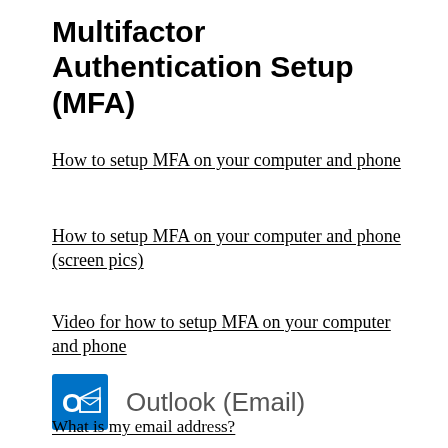Multifactor Authentication Setup (MFA)
How to setup MFA on your computer and phone
How to setup MFA on your computer and phone (screen pics)
Video for how to setup MFA on your computer and phone
[Figure (logo): Microsoft Outlook logo icon — blue square with white O and envelope symbol]
Outlook (Email)
What is my email address?